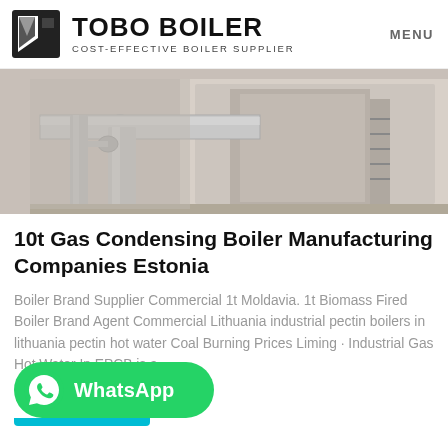TOBO BOILER — COST-EFFECTIVE BOILER SUPPLIER | MENU
[Figure (photo): Industrial boiler room with metal piping and equipment visible]
10t Gas Condensing Boiler Manufacturing Companies Estonia
Boiler Brand Supplier Commercial 1t Moldavia. 1t Biomass Fired Boiler Brand Agent Commercial Lithuania industrial pectin boilers in lithuania pectin hot water Coal Burning Prices Liming · Industrial Gas Hot Water In EPCB is a…
[Figure (logo): WhatsApp contact button (green rounded rectangle with WhatsApp icon and label)]